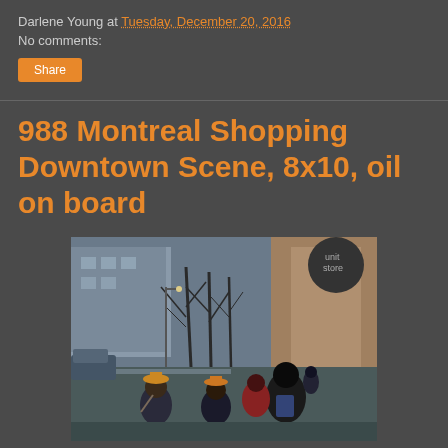Darlene Young at Tuesday, December 20, 2016
No comments:
Share
988 Montreal Shopping Downtown Scene, 8x10, oil on board
[Figure (photo): Oil painting of a Montreal downtown shopping scene showing pedestrians walking along a winter street with bare trees, buildings, and storefronts in the background.]